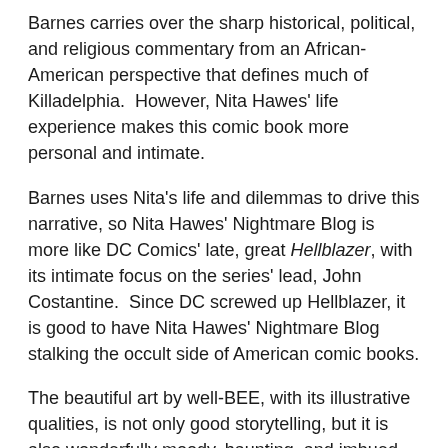Barnes carries over the sharp historical, political, and religious commentary from an African-American perspective that defines much of Killadelphia.  However, Nita Hawes' life experience makes this comic book more personal and intimate.
Barnes uses Nita's life and dilemmas to drive this narrative, so Nita Hawes' Nightmare Blog is more like DC Comics' late, great Hellblazer, with its intimate focus on the series' lead, John Costantine.  Since DC screwed up Hellblazer, it is good to have Nita Hawes' Nightmare Blog stalking the occult side of American comic books.
The beautiful art by well-BEE, with its illustrative qualities, is not only good storytelling, but it is also wonderfully moody, haunting, and imbued with evil.  As usual, Luis Nct's powerful colors come into to scare readers' asses even more.  And there is letterer Marshall Dillon, creeping around and delivering the sinister exposition of this story.  What a great creative team!
Of course, I will always recommend both Nita Hawes'